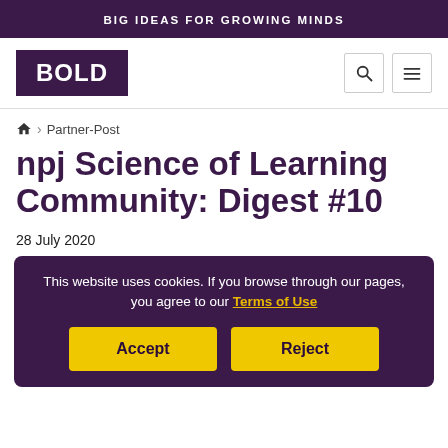BIG IDEAS FOR GROWING MINDS
[Figure (logo): BOLD logo - white text on dark purple background, with search and menu icons]
Partner-Post
npj Science of Learning Community: Digest #10
28 July 2020
This website uses cookies. If you browse through our pages, you agree to our Terms of Use
Accept | Reject